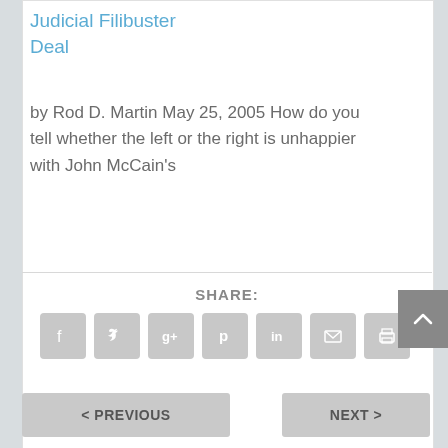Judicial Filibuster Deal
by Rod D. Martin May 25, 2005 How do you tell whether the left or the right is unhappier with John McCain's
[Figure (infographic): Share buttons row with Facebook, Twitter, Google+, Pinterest, LinkedIn, Email, and Print icons in gray rounded square buttons, with SHARE: label above]
[Figure (infographic): Scroll to top button (gray square with upward chevron) on right edge]
< PREVIOUS
NEXT >